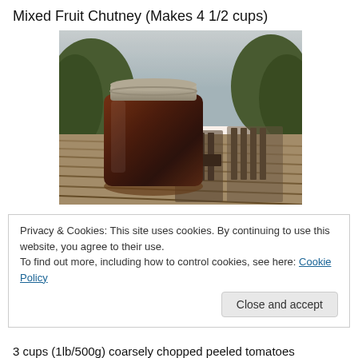Mixed Fruit Chutney (Makes 4 1/2 cups)
[Figure (photo): A mason jar filled with dark reddish-brown chutney sitting on a wooden deck table outdoors, with Adirondack chairs and trees visible in the background. Photo has a warm vintage tone.]
Privacy & Cookies: This site uses cookies. By continuing to use this website, you agree to their use.
To find out more, including how to control cookies, see here: Cookie Policy
Close and accept
3 cups (1lb/500g) coarsely chopped peeled tomatoes